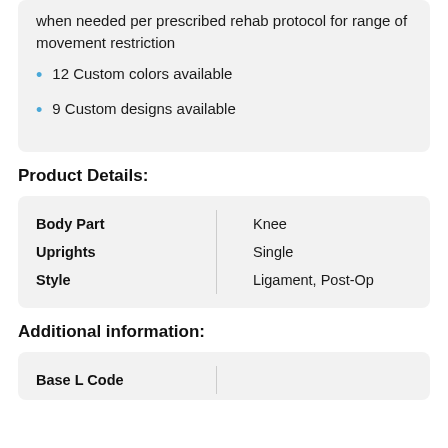when needed per prescribed rehab protocol for range of movement restriction
12 Custom colors available
9 Custom designs available
Product Details:
|  |  |
| --- | --- |
| Body Part | Knee |
| Uprights | Single |
| Style | Ligament, Post-Op |
Additional information:
|  |  |
| --- | --- |
| Base L Code |  |